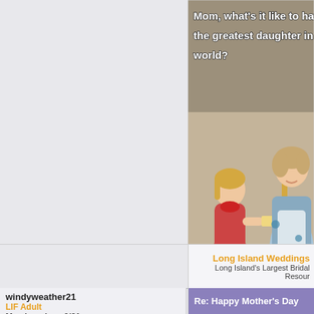[Figure (photo): A humorous meme image showing a vintage 1950s-style mother and daughter in a kitchen. The daughter asks 'Mom, what's it like to have the greatest daughter in the world?' and the mother replies 'I don't know dear...you'll have to ask grandma.' Text is displayed in white bold outlined font over the retro photograph.]
Long Island Weddings
Long Island's Largest Bridal Resour
Re: Happy Mother's Day
windyweather21
LIF Adult
Member since 3/21